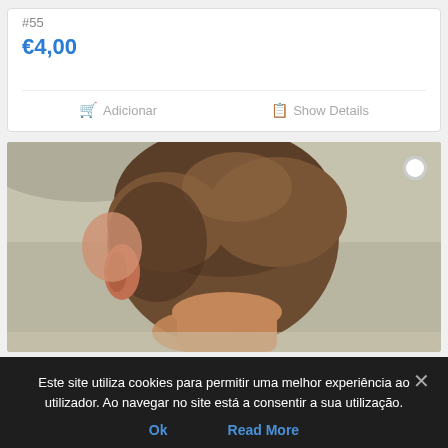#55
€4,00
🛒 Adicionar
📋 Show Details
[Figure (photo): Back view of a child's head with short brown hair, against a beige background. A white circle indicator is visible in the top-right corner.]
Este site utiliza cookies para permitir uma melhor experiência ao utilizador. Ao navegar no site está a consentir a sua utilização.
Ok
Read More